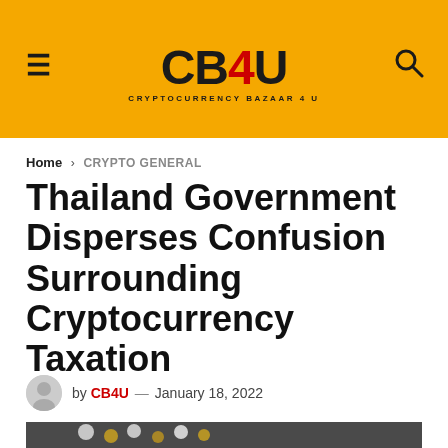CB4U — CRYPTOCURRENCY BAZAAR 4 U
Home > CRYPTO GENERAL
Thailand Government Disperses Confusion Surrounding Cryptocurrency Taxation
by CB4U — January 18, 2022
[Figure (photo): Close-up photo of gold and silver spherical tokens/beads on a dark tray, representing cryptocurrency]